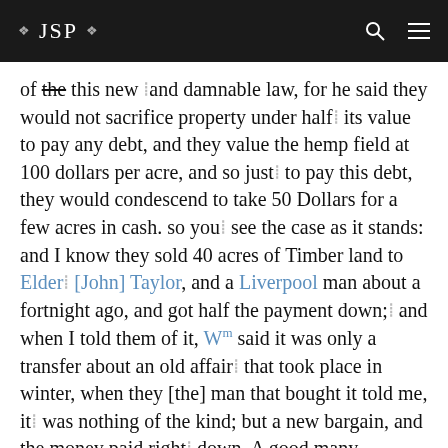❖ JSP ❖
of the this new and damnable law, for he said they would not sacrifice property under half its value to pay any debt, and they value the hemp field at 100 dollars per acre, and so just to pay this debt, they would condescend to take 50 Dollars for a few acres in cash. so you see the case as it stands: and I know they sold 40 acres of Timber land to Elder [John] Taylor, and a Liverpool man about a fortnight ago, and got half the payment down; and when I told them of it, Wm said it was only a transfer about an old affair that took place in winter, when they [the] man that bought it told me, it was nothing of the kind; but a new bargain, and the money paid right down, A good many mormons and some holding high offices in your church have advised me not to write at all to you, for you were so closely connected with Laws that you will only make a